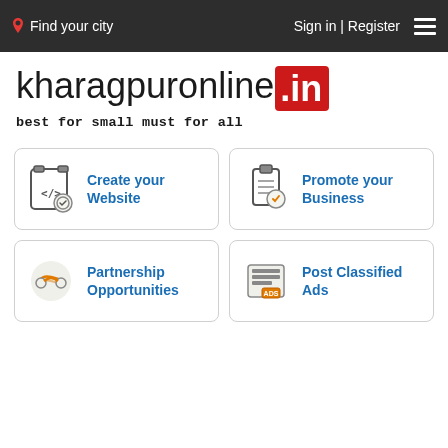Find your city | Sign in | Register
kharagpuronline.in
best for small must for all
Create your Website
Promote your Business
Partnership Opportunities
Post Classified Ads